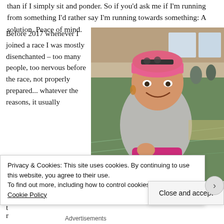than if I simply sit and ponder. So if you'd ask me if I'm running from something I'd rather say I'm running towards something: A solution. Peace of mind.
[Figure (photo): Woman smiling at a sports hall event, wearing a pink headband, grey jacket, and magenta shorts, holding a small item. She has a race bib labeled 'FITNESSTREFF NIKLAUS'. Other people and sports hall background visible.]
Before 2017 whenever I joined a race I was mostly disenchanted – too many people, too nervous before the race, not properly prepared... whatever the reasons, it usually
Privacy & Cookies: This site uses cookies. By continuing to use this website, you agree to their use.
To find out more, including how to control cookies, see here: Cookie Policy
Close and accept
Advertisements